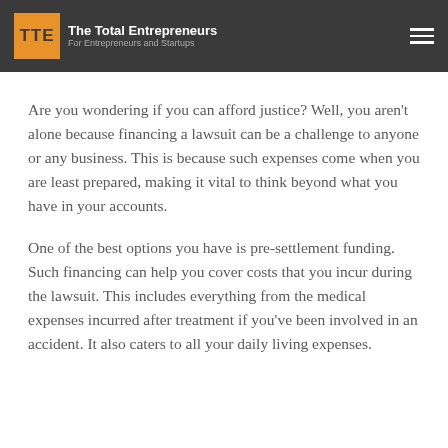TTE The Total Entrepreneurs For Entrepreneurs and Startups
Are you wondering if you can afford justice? Well, you aren't alone because financing a lawsuit can be a challenge to anyone or any business. This is because such expenses come when you are least prepared, making it vital to think beyond what you have in your accounts.
One of the best options you have is pre-settlement funding. Such financing can help you cover costs that you incur during the lawsuit. This includes everything from the medical expenses incurred after treatment if you've been involved in an accident. It also caters to all your daily living expenses.